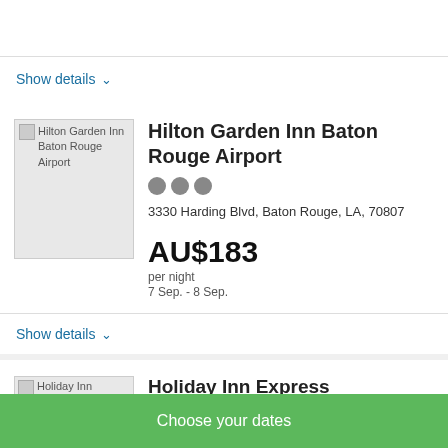Show details ∨
[Figure (photo): Hilton Garden Inn Baton Rouge Airport hotel image placeholder]
Hilton Garden Inn Baton Rouge Airport
3330 Harding Blvd, Baton Rouge, LA, 70807
AU$183 per night 7 Sep. - 8 Sep.
Show details ∨
[Figure (photo): Holiday Inn Express Hotel image placeholder]
Holiday Inn Express
Choose your dates